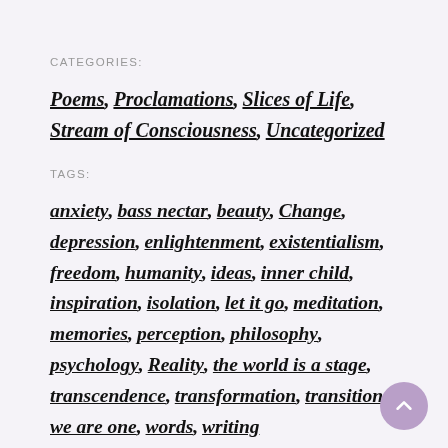CATEGORIES:
Poems, Proclamations, Slices of Life, Stream of Consciousness, Uncategorized
TAGS:
anxiety, bass nectar, beauty, Change, depression, enlightenment, existentialism, freedom, humanity, ideas, inner child, inspiration, isolation, let it go, meditation, memories, perception, philosophy, psychology, Reality, the world is a stage, transcendence, transformation, transition, we are one, words, writing